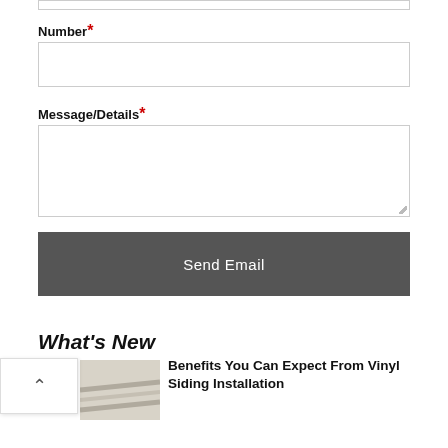Number*
Message/Details*
Send Email
What's New
Benefits You Can Expect From Vinyl Siding Installation